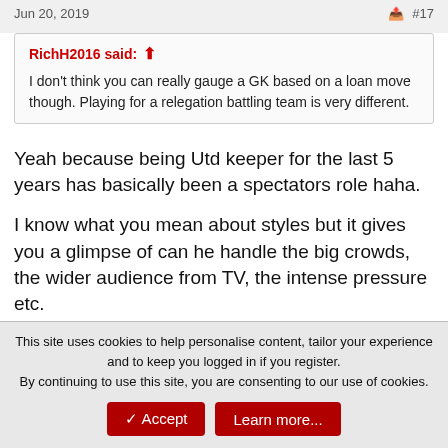Jun 20, 2019  #17
RichH2016 said: ↑
I don't think you can really gauge a GK based on a loan move though. Playing for a relegation battling team is very different.
Yeah because being Utd keeper for the last 5 years has basically been a spectators role haha.

I know what you mean about styles but it gives you a glimpse of can he handle the big crowds, the wider audience from TV, the intense pressure etc.
↩ Reply
This site uses cookies to help personalise content, tailor your experience and to keep you logged in if you register.
By continuing to use this site, you are consenting to our use of cookies.